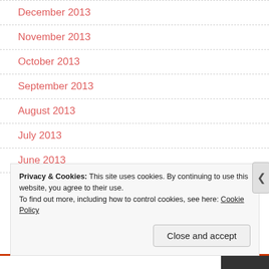December 2013
November 2013
October 2013
September 2013
August 2013
July 2013
June 2013
Privacy & Cookies: This site uses cookies. By continuing to use this website, you agree to their use.
To find out more, including how to control cookies, see here: Cookie Policy
Close and accept